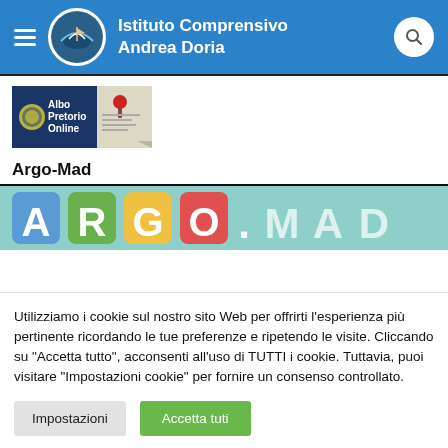Istituto Comprensivo Andrea Doria
[Figure (logo): Albo Pretorio Online banner image]
Argo-Mad
[Figure (logo): ARGO.MAD colorful logo banner]
Utilizziamo i cookie sul nostro sito Web per offrirti l'esperienza più pertinente ricordando le tue preferenze e ripetendo le visite. Cliccando su "Accetta tutto", acconsenti all'uso di TUTTI i cookie. Tuttavia, puoi visitare "Impostazioni cookie" per fornire un consenso controllato.
Impostazioni
Accetta tuti